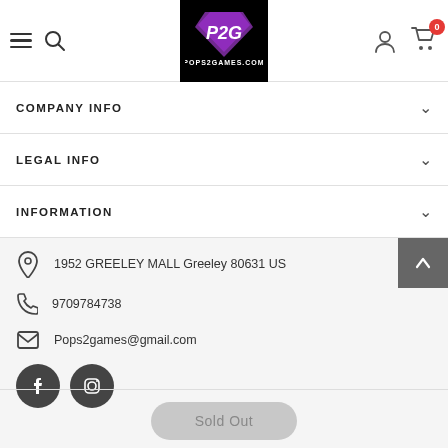[Figure (screenshot): Website header with hamburger menu, search icon, P2G Pops2games.com logo in black box, user icon, and cart icon with 0 badge]
COMPANY INFO
LEGAL INFO
INFORMATION
1952 GREELEY MALL Greeley 80631 US
9709784738
Pops2games@gmail.com
[Figure (illustration): Facebook and Instagram social media icon buttons (dark circles)]
Sold Out